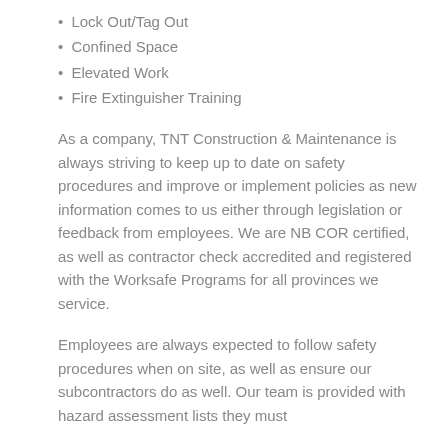Lock Out/Tag Out
Confined Space
Elevated Work
Fire Extinguisher Training
As a company, TNT Construction & Maintenance is always striving to keep up to date on safety procedures and improve or implement policies as new information comes to us either through legislation or feedback from employees. We are NB COR certified, as well as contractor check accredited and registered with the Worksafe Programs for all provinces we service.
Employees are always expected to follow safety procedures when on site, as well as ensure our subcontractors do as well. Our team is provided with hazard assessment lists they must